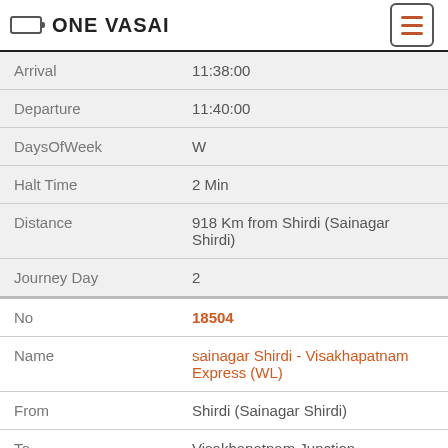ONE VASAI
| Field | Value |
| --- | --- |
| Arrival | 11:38:00 |
| Departure | 11:40:00 |
| DaysOfWeek | W |
| Halt Time | 2 Min |
| Distance | 918 Km from Shirdi (Sainagar Shirdi) |
| Journey Day | 2 |
| No | 18504 |
| Name | sainagar Shirdi - Visakhapatnam Express (WL) |
| From | Shirdi (Sainagar Shirdi) |
| To | Visakhapatnam Junction |
| Arrival | 11:38:00 |